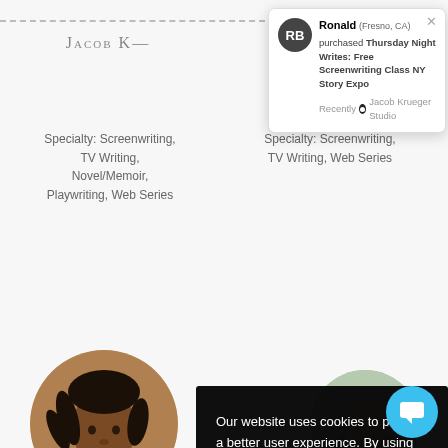[Figure (screenshot): Website screenshot showing instructor listing page with popup notifications and cookie consent overlay. Top section shows two instructor cards (Jacob K. and another) with specialty text. A notification popup from Ronald (Fresno, CA) about purchasing 'Thursday Night Writes: Free Screenwriting Class NY Story Expo' at Jacob Krueger Studio. Middle section shows a circular profile photo of a Black male instructor with dreadlocks. A dark cookie consent overlay reads: 'Our website uses cookies to provide a better user experience. By using our site, you agree to our use of cookies. Learn more about cookies and how you can refuse them.' with an ACCEPT & CLOSE button. Bottom section shows another instructor row with Ron Mc... name and Specialty: TV Drama / Web Series text. A cyan chat bubble button appears in the bottom right.]